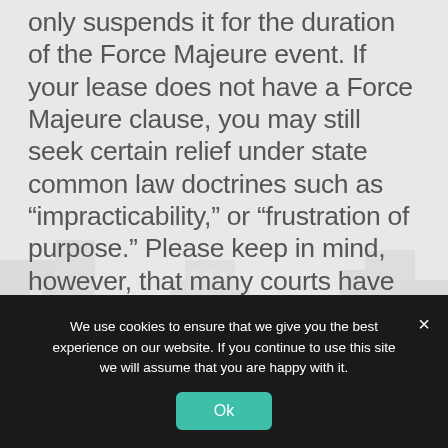only suspends it for the duration of the Force Majeure event. If your lease does not have a Force Majeure clause, you may still seek certain relief under state common law doctrines such as “impracticability,” or “frustration of purpose.” Please keep in mind, however, that many courts have traditionally ruled that the payment of money does not qualify for the use of these common law doctrines. These doctrines may apply if the actual performance of obligations
We use cookies to ensure that we give you the best experience on our website. If you continue to use this site we will assume that you are happy with it.